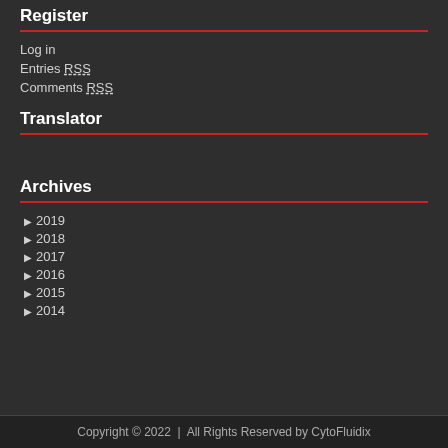Register
Log in
Entries RSS
Comments RSS
Translator
Archives
▶ 2019
▶ 2018
▶ 2017
▶ 2016
▶ 2015
▶ 2014
Copyright © 2022  |  All Rights Reserved by CytoFluidix